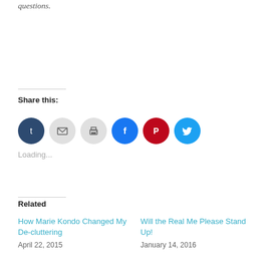questions.
Share this:
[Figure (infographic): Social sharing icons: Tumblr, Email, Print, Facebook, Pinterest, Twitter]
Loading...
Related
How Marie Kondo Changed My De-cluttering
April 22, 2015
Will the Real Me Please Stand Up!
January 14, 2016